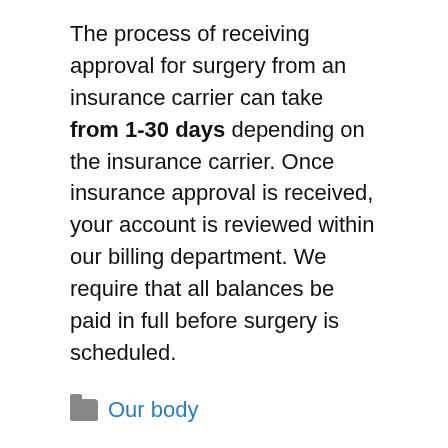The process of receiving approval for surgery from an insurance carrier can take from 1-30 days depending on the insurance carrier. Once insurance approval is received, your account is reviewed within our billing department. We require that all balances be paid in full before surgery is scheduled.
Our body
Search …
From the author